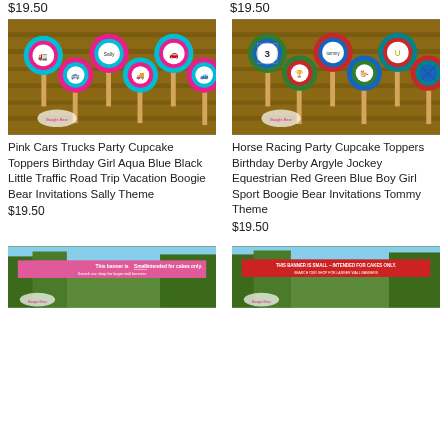$19.50
$19.50
[Figure (photo): Pink Cars Trucks Party Cupcake Toppers on sticks with decorative scalloped circles, featuring cars and trucks in pink, teal, and white against a wood background]
[Figure (photo): Horse Racing Party Cupcake Toppers on sticks with colorful circles featuring derby/equestrian icons in red, green, blue, and argyle patterns against a wood background]
Pink Cars Trucks Party Cupcake Toppers Birthday Girl Aqua Blue Black Little Traffic Road Trip Vacation Boogie Bear Invitations Sally Theme
$19.50
Horse Racing Party Cupcake Toppers Birthday Derby Argyle Jockey Equestrian Red Green Blue Boy Girl Sport Boogie Bear Invitations Tommy Theme
$19.50
[Figure (photo): Party banner with pink overlay text reading 'This banner is Small - intended for cakes only. Search our shop for larger wall banners' against an outdoor background]
[Figure (photo): Party banner with red overlay text reading 'THIS BANNER IS SMALL - INTENDED FOR CAKES ONLY. SEARCH OUR SHOP FOR LARGER WALL BANNERS' against an outdoor background]